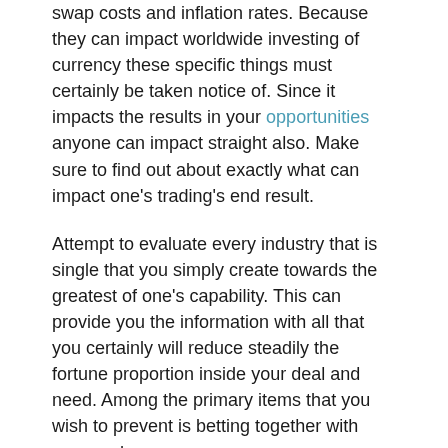swap costs and inflation rates. Because they can impact worldwide investing of currency these specific things must certainly be taken notice of. Since it impacts the results in your opportunities anyone can impact straight also. Make sure to find out about exactly what can impact one's trading's end result.
Attempt to evaluate every industry that is single that you simply create towards the greatest of one's capability. This can provide you the information with all that you certainly will reduce steadily the fortune proportion inside your deal and need. Among the primary items that you wish to prevent is betting together with your cash.
Forex Currency Trading
You need to try to disregard traditional knowledge whenever seeking forex currency trading. You shouldn't consider something that is mentioned within the monetary press really significantly as this